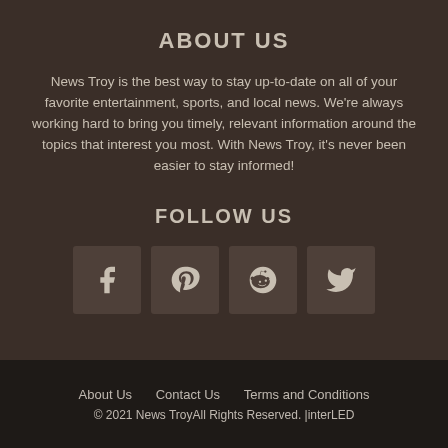ABOUT US
News Troy is the best way to stay up-to-date on all of your favorite entertainment, sports, and local news. We're always working hard to bring you timely, relevant information around the topics that interest you most. With News Troy, it's never been easier to stay informed!
FOLLOW US
[Figure (infographic): Social media icon buttons for Facebook, Pinterest, Reddit, and Twitter]
About Us   Contact Us   Terms and Conditions
© 2021 News TroyAll Rights Reserved.  |interLED